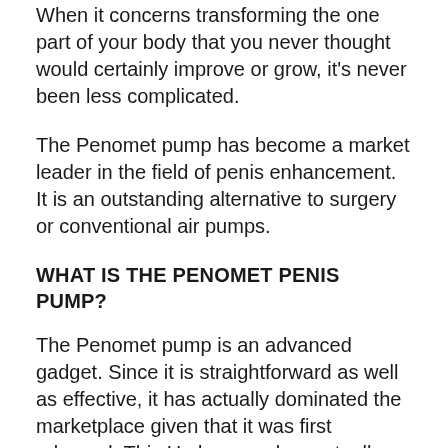When it concerns transforming the one part of your body that you never thought would certainly improve or grow, it's never been less complicated.
The Penomet pump has become a market leader in the field of penis enhancement. It is an outstanding alternative to surgery or conventional air pumps.
WHAT IS THE PENOMET PENIS PUMP?
The Penomet pump is an advanced gadget. Since it is straightforward as well as effective, it has actually dominated the marketplace given that it was first released. This Hydropump has actually developed itself as a major contender for the most